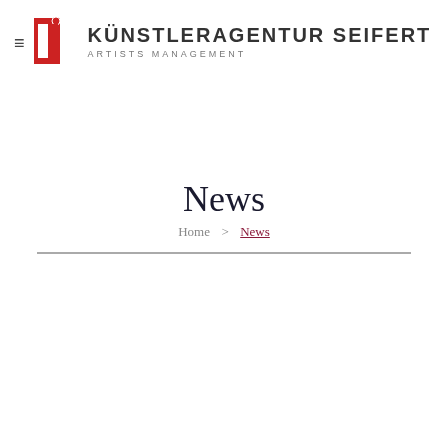KÜNSTLERAGENTUR SEIFERT ARTISTS MANAGEMENT
News
Home > News